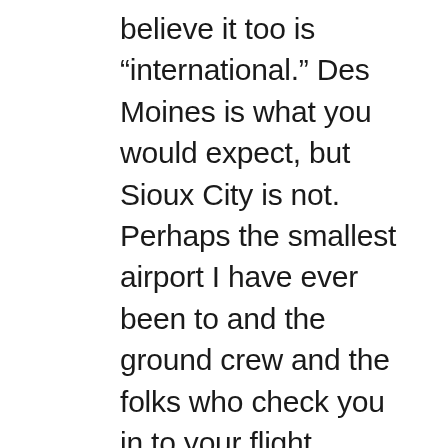believe it too is “international.” Des Moines is what you would expect, but Sioux City is not.  Perhaps the smallest airport I have ever been to and the ground crew and the folks who check you in to your flight appear to be the same people.  The bonus points was the gift shop and snack bar staffed by an elderly lady.  It seemed more one of those establishments they tacked on to a museum than a commercial endeavor – I half expected to see a donation jar on the counter.  Not that I didn’t enjoy chatting with folks there and bought several of the airport teeshirts since the